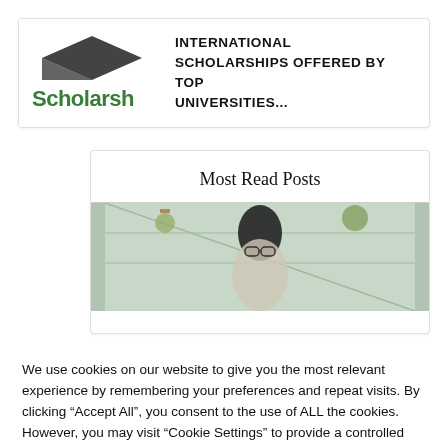[Figure (logo): Scholarships website logo showing a partial graduation cap icon and green text 'Scholarsh']
INTERNATIONAL SCHOLARSHIPS OFFERED BY TOP UNIVERSITIES...
Most Read Posts
[Figure (photo): Photo of a young Black woman wearing glasses in a greenhouse with hanging plants]
We use cookies on our website to give you the most relevant experience by remembering your preferences and repeat visits. By clicking “Accept All”, you consent to the use of ALL the cookies. However, you may visit "Cookie Settings" to provide a controlled consent.